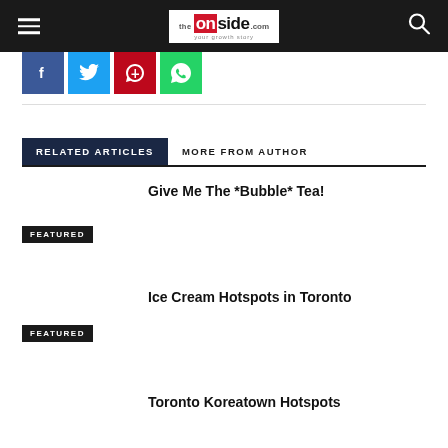the onside.com — your growth story
[Figure (logo): The Onside.com logo with red box containing 'on' and black text 'side' with tagline 'your growth story']
[Figure (infographic): Social share buttons: Facebook (blue), Twitter (light blue), Pinterest (red), WhatsApp (green)]
RELATED ARTICLES    MORE FROM AUTHOR
Give Me The *Bubble* Tea!
FEATURED
Ice Cream Hotspots in Toronto
FEATURED
Toronto Koreatown Hotspots